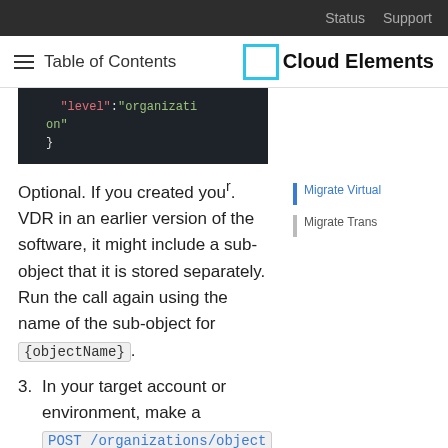Status   Support
☰  Table of Contents   Cloud Elements
[Figure (screenshot): Dark code block showing JSON snippet: "level":"organization" }]
Optional. If you created your VDR in an earlier version of the software, it might include a sub-object that it is stored separately. Run the call again using the name of the sub-object for {objectName}.
3. In your target account or environment, make a POST /organizations/object